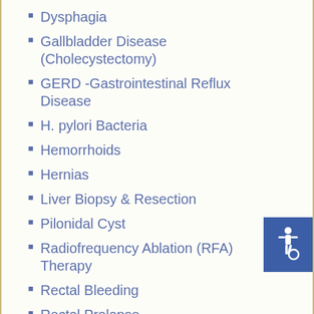Dysphagia
Gallbladder Disease (Cholecystectomy)
GERD -Gastrointestinal Reflux Disease
H. pylori Bacteria
Hemorrhoids
Hernias
Liver Biopsy & Resection
Pilonidal Cyst
Radiofrequency Ablation (RFA) Therapy
Rectal Bleeding
Rectal Prolapse
Skin Cancer
Stomach Cancer Surgery
Thyroid Surgery
Transanal Excision
[Figure (illustration): Blue accessibility/wheelchair icon badge on right side]